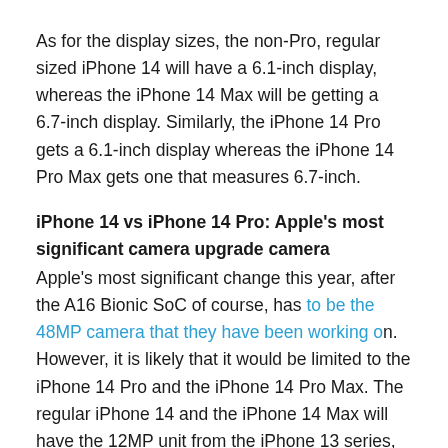As for the display sizes, the non-Pro, regular sized iPhone 14 will have a 6.1-inch display, whereas the iPhone 14 Max will be getting a 6.7-inch display. Similarly, the iPhone 14 Pro gets a 6.1-inch display whereas the iPhone 14 Pro Max gets one that measures 6.7-inch.
iPhone 14 vs iPhone 14 Pro: Apple's most significant camera upgrade camera
Apple's most significant change this year, after the A16 Bionic SoC of course, has to be the 48MP camera that they have been working on. However, it is likely that it would be limited to the iPhone 14 Pro and the iPhone 14 Pro Max. The regular iPhone 14 and the iPhone 14 Max will have the 12MP unit from the iPhone 13 series, albeit with some minor but significant changes.
The Pro models are also supposed to get an all new front